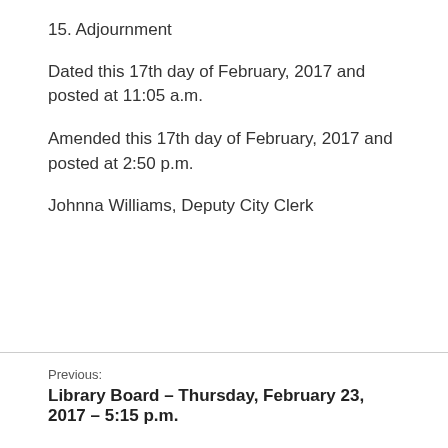15. Adjournment
Dated this 17th day of February, 2017 and posted at 11:05 a.m.
Amended this 17th day of February, 2017 and posted at 2:50 p.m.
Johnna Williams, Deputy City Clerk
Previous:
Library Board – Thursday, February 23, 2017 – 5:15 p.m.